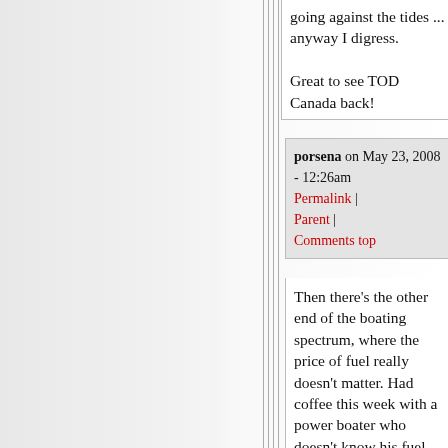going against the tides ... anyway I digress.

Great to see TOD Canada back!
porsena on May 23, 2008 - 12:26am
Permalink | Parent | Comments top
Then there's the other end of the boating spectrum, where the price of fuel really doesn't matter. Had coffee this week with a power boater who doesn't know his fuel